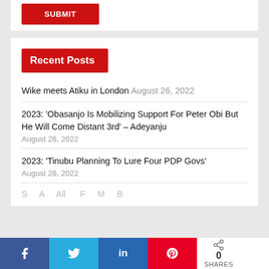Wike meets Atiku in London August 26, 2022
2023: 'Obasanjo Is Mobilizing Support For Peter Obi But He Will Come Distant 3rd' – Adeyanju August 26, 2022
2023: 'Tinubu Planning To Lure Four PDP Govs' August 26, 2022
Recent Posts
0 SHARES